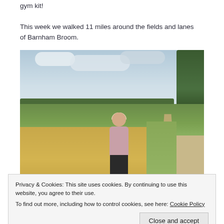gym kit!
This week we walked 11 miles around the fields and lanes of Barnham Broom.
[Figure (photo): A woman with short blonde hair and sunglasses wearing a pink vest top and dark trousers, walking along a path next to a wheat field with green fields and trees in the background under a partly cloudy sky. Location: Barnham Broom.]
Privacy & Cookies: This site uses cookies. By continuing to use this website, you agree to their use.
To find out more, including how to control cookies, see here: Cookie Policy
Close and accept